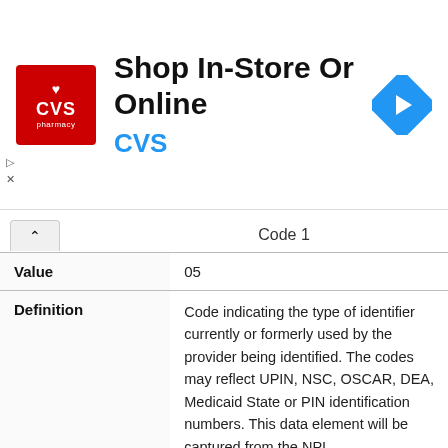[Figure (other): CVS Pharmacy advertisement banner: Shop In-Store Or Online, with CVS logo and navigation icon]
|  | Code 1 |
| --- | --- |
| Value | 05 |
| Definition | Code indicating the type of identifier currently or formerly used by the provider being identified. The codes may reflect UPIN, NSC, OSCAR, DEA, Medicaid State or PIN identification numbers. This data element will be captured from the NPI application/update form. |
| Name | Other Provider Identifier State 1 |
| Value | MI |
| Definition |  |